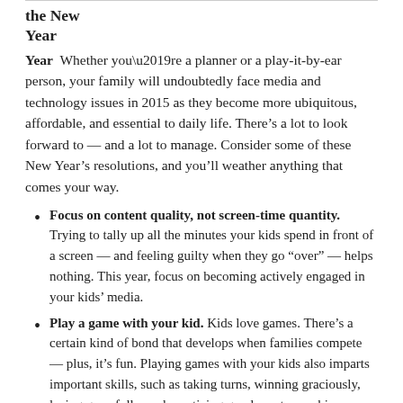the New Year
Year  Whether you’re a planner or a play-it-by-ear person, your family will undoubtedly face media and technology issues in 2015 as they become more ubiquitous, affordable, and essential to daily life. There’s a lot to look forward to — and a lot to manage. Consider some of these New Year’s resolutions, and you’ll weather anything that comes your way.
Focus on content quality, not screen-time quantity. Trying to tally up all the minutes your kids spend in front of a screen — and feeling guilty when they go “over” — helps nothing. This year, focus on becoming actively engaged in your kids’ media.
Play a game with your kid. Kids love games. There’s a certain kind of bond that develops when families compete — plus, it’s fun. Playing games with your kids also imparts important skills, such as taking turns, winning graciously, losing gracefully, and practicing good sportsmanship.